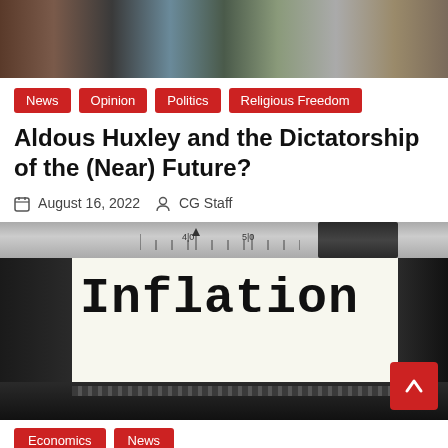[Figure (photo): Group photo collage at the top of the article]
News
Opinion
Politics
Religious Freedom
Aldous Huxley and the Dictatorship of the (Near) Future?
August 16, 2022   CG Staff
[Figure (photo): Close-up photo of a typewriter with the word 'Inflation' typed on paper, with typewriter mechanics visible]
Economics
News